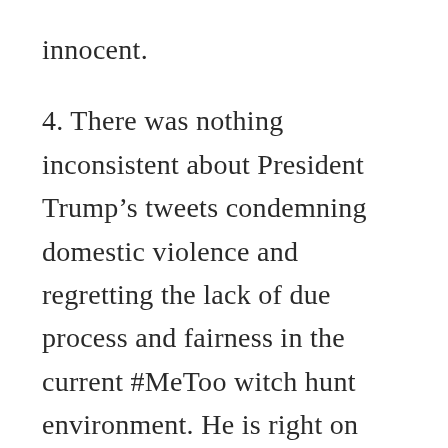innocent.
4. There was nothing inconsistent about President Trump’s tweets condemning domestic violence and regretting the lack of due process and fairness in the current #MeToo witch hunt environment. He is right on both counts. As usual, he was not as articulate as he needs to be when opining on such delicate topics. He is not going to become more articulate,